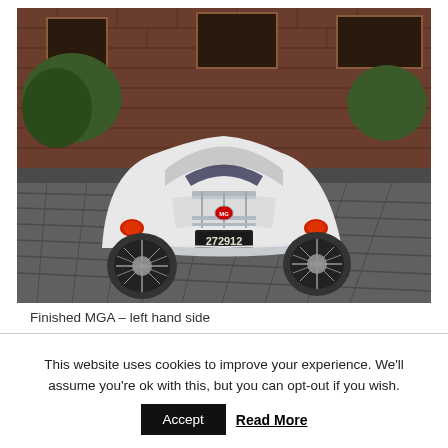[Figure (photo): Rear three-quarter view of a finished white MGA classic car with chrome luggage rack on the trunk, wire wheels, and license plate reading '272912', parked on a brick driveway in front of a red brick building.]
Finished MGA – left hand side
This website uses cookies to improve your experience. We'll assume you're ok with this, but you can opt-out if you wish.
Accept   Read More